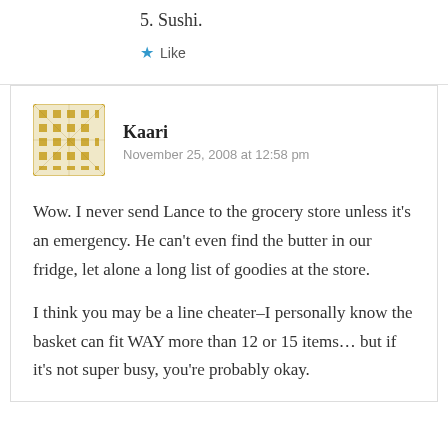5. Sushi.
Like
Kaari
November 25, 2008 at 12:58 pm
Wow. I never send Lance to the grocery store unless it's an emergency. He can't even find the butter in our fridge, let alone a long list of goodies at the store.
I think you may be a line cheater–I personally know the basket can fit WAY more than 12 or 15 items… but if it's not super busy, you're probably okay.